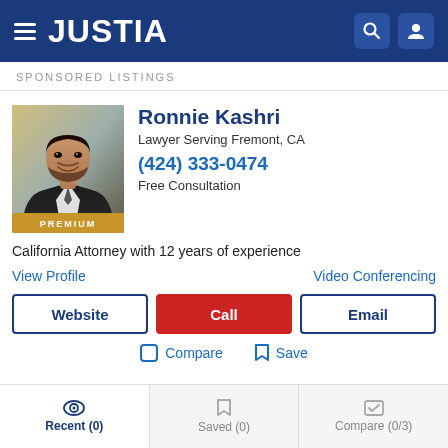JUSTIA
SPONSORED LISTINGS
[Figure (photo): Headshot photo of Ronnie Kashri, attorney, with PREMIUM badge]
Ronnie Kashri
Lawyer Serving Fremont, CA
(424) 333-0474
Free Consultation
California Attorney with 12 years of experience
View Profile
Video Conferencing
Website
Call
Email
Compare
Save
Recent (0)  Saved (0)  Compare (0/3)